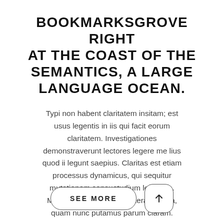BOOKMARKSGROVE RIGHT AT THE COAST OF THE SEMANTICS, A LARGE LANGUAGE OCEAN.
Typi non habent claritatem insitam; est usus legentis in iis qui facit eorum claritatem. Investigationes demonstraverunt lectores legere me lius quod ii legunt saepius. Claritas est etiam processus dynamicus, qui sequitur mutationem consuetudium lectorum. Mirum est notare quam littera gothica, quam nunc putamus parum claram.
[Figure (other): Two buttons: a rounded rectangle 'SEE MORE' button and a rounded square button with an upward arrow icon.]